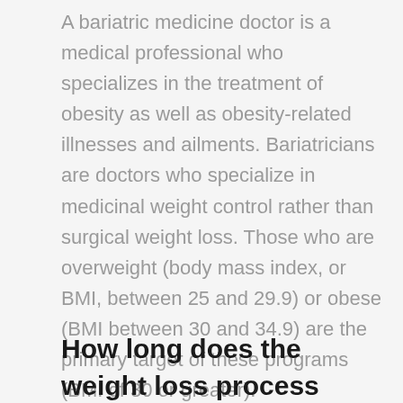A bariatric medicine doctor is a medical professional who specializes in the treatment of obesity as well as obesity-related illnesses and ailments. Bariatricians are doctors who specialize in medicinal weight control rather than surgical weight loss. Those who are overweight (body mass index, or BMI, between 25 and 29.9) or obese (BMI between 30 and 34.9) are the primary target of these programs (BMI of 30 or greater).
How long does the weight loss process take?